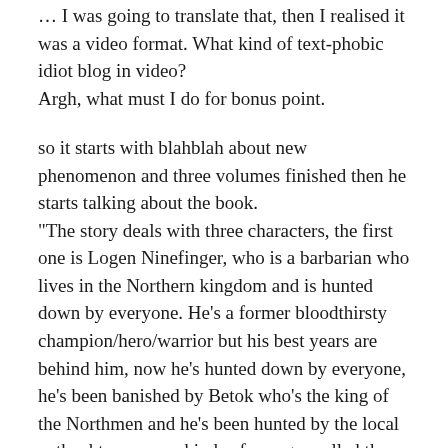… I was going to translate that, then I realised it was a video format. What kind of text-phobic idiot blog in video?
Argh, what must I do for bonus point.
so it starts with blahblah about new phenomenon and three volumes finished then he starts talking about the book.
“The story deals with three characters, the first one is Logen Ninefinger, who is a barbarian who lives in the Northern kingdom and is hunted down by everyone. He’s a former bloodthirsty champion/hero/warrior but his best years are behind him, now he’s hunted down by everyone, he’s been banished by Betok who’s the king of the Northmen and he’s been hunted by the local authochtons, some kinds of savages called the flat heads, and they exterminated his group of companion so now Logen